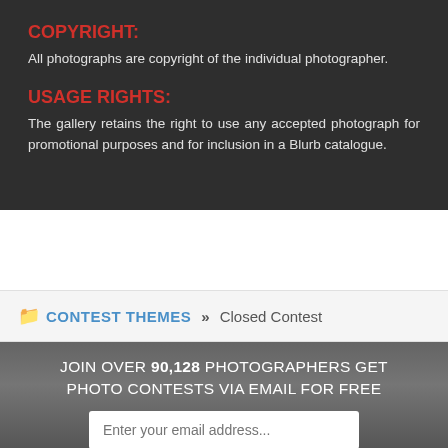COPYRIGHT:
All photographs are copyright of the individual photographer.
USAGE RIGHTS:
The gallery retains the right to use any accepted photograph for promotional purposes and for inclusion in a Blurb catalogue.
CONTEST THEMES » Closed Contest
JOIN OVER 90,128 PHOTOGRAPHERS GET PHOTO CONTESTS VIA EMAIL FOR FREE
Enter your email address...